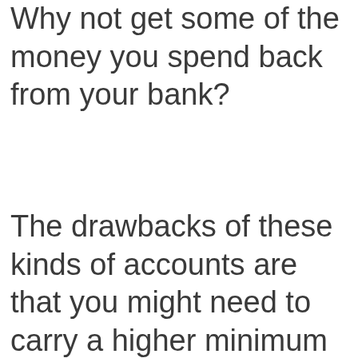Why not get some of the money you spend back from your bank?
The drawbacks of these kinds of accounts are that you might need to carry a higher minimum balance than on a free checking account. Just make sure you read the fine print and avoid any fees. Remember, monthly fees could eat into the rewards...